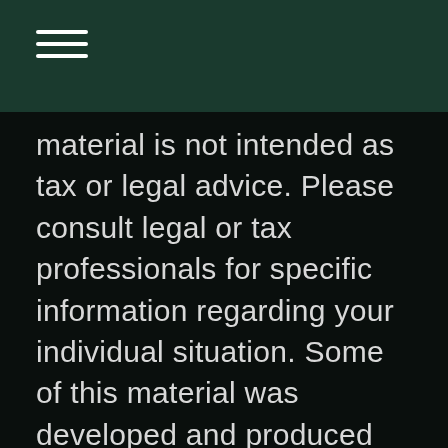material is not intended as tax or legal advice. Please consult legal or tax professionals for specific information regarding your individual situation. Some of this material was developed and produced by FMG Suite to provide information on a topic that may be of interest. FMG Suite is not affiliated with the named representative, broker - dealer, state - or SEC - registered investment advisory firm. The opinions expressed and material provided are for general information, and should not be considered a solicitation for the purchase or sale of any security.